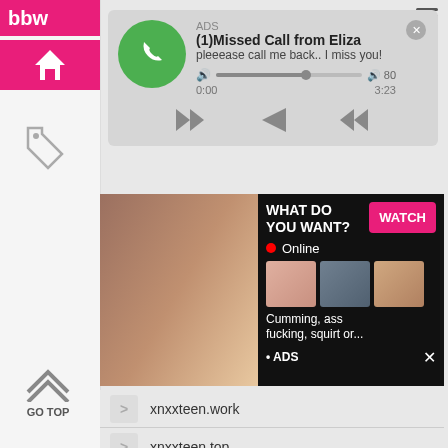[Figure (screenshot): Mobile audio notification widget showing missed call from Eliza with phone icon, progress bar, and playback controls. Text: ADS, (1)Missed Call from Eliza, pleeease call me back.. I miss you!, 0:00, 3:23]
[Figure (screenshot): Adult advertisement banner with image on left and text: WHAT DO YOU WANT? WATCH button, Online indicator, thumbnail images, Cumming, ass fucking, squirt or..., ADS]
xnxxteen.work
xnxxteen.top